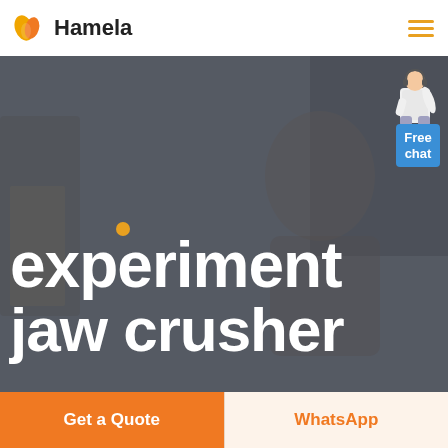[Figure (logo): Hamela company logo with orange heart/leaf shape and bold text 'Hamela']
[Figure (photo): Hero section with dark overlay showing a person wearing glasses, large white bold text reading 'experiment jaw crusher' with an orange dot, and a 'Free chat' widget with a person illustration in the top right corner]
Get a Quote
WhatsApp